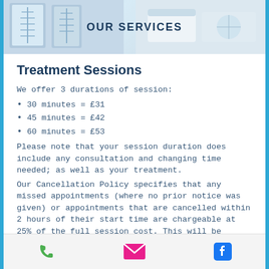[Figure (photo): Banner image showing medical/treatment setting with text OUR SERVICES overlaid]
Treatment Sessions
We offer 3 durations of session:
30 minutes = £31
45 minutes = £42
60 minutes = £53
Please note that your session duration does include any consultation and changing time needed; as well as your treatment.
Our Cancellation Policy specifies that any missed appointments (where no prior notice was given) or appointments that are cancelled within 2 hours of their start time are chargeable at 25% of the full session cost. This will be payable before you re-book another appointment. Please Note that this is not applicable if you
Phone | Email | Facebook